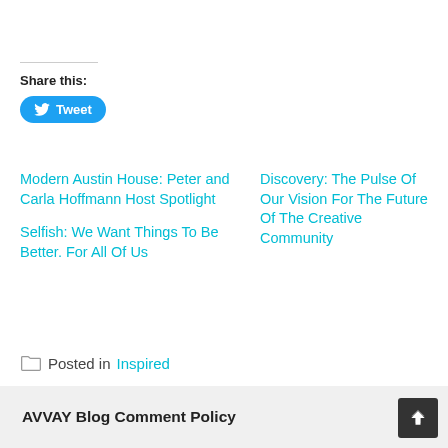Share this:
Tweet
Modern Austin House: Peter and Carla Hoffmann Host Spotlight
Discovery: The Pulse Of Our Vision For The Future Of The Creative Community
Selfish: We Want Things To Be Better. For All Of Us
Posted in Inspired
AVVAY Blog Comment Policy